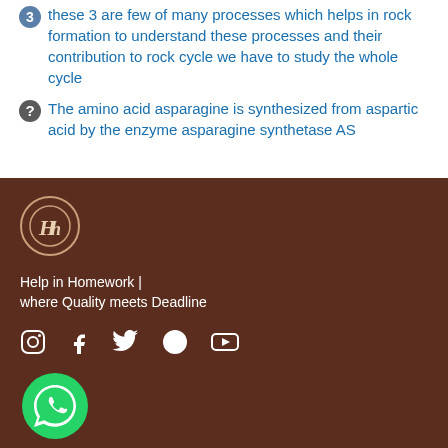these 3 are few of many processes which helps in rock formation to understand these processes and their contribution to rock cycle we have to study the whole cycle
The amino acid asparagine is synthesized from aspartic acid by the enzyme asparagine synthetase AS
[Figure (logo): Help in Homework logo — stylized Hh letters inside a circle with decorative border]
Help in Homework | where Quality meets Deadline
[Figure (infographic): Social media icons: Instagram, Facebook, Twitter, WhatsApp, YouTube — white outline icons on brown background]
[Figure (logo): WhatsApp green logo icon]